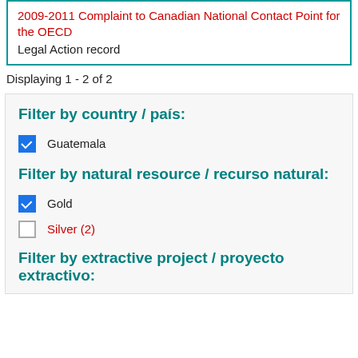2009-2011 Complaint to Canadian National Contact Point for the OECD
Legal Action record
Displaying 1 - 2 of 2
Filter by country / país:
Guatemala (checked)
Filter by natural resource / recurso natural:
Gold (checked)
Silver (2)
Filter by extractive project / proyecto extractivo: